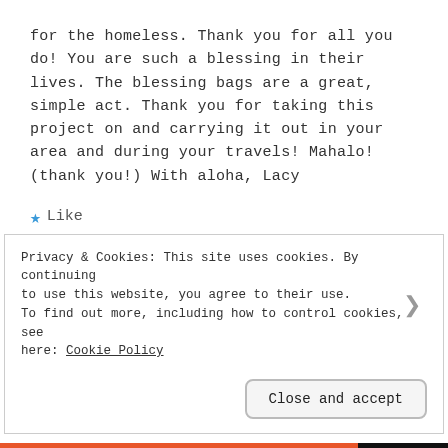for the homeless. Thank you for all you do! You are such a blessing in their lives. The blessing bags are a great, simple act. Thank you for taking this project on and carrying it out in your area and during your travels! Mahalo! (thank you!) With aloha, Lacy
★ Like
Reply
Privacy & Cookies: This site uses cookies. By continuing to use this website, you agree to their use. To find out more, including how to control cookies, see here: Cookie Policy
Close and accept